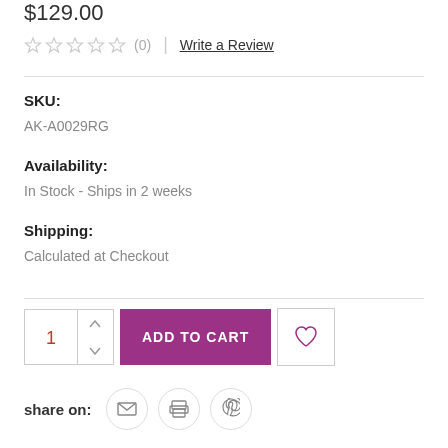$129.00
★★★★★ (0) | Write a Review
SKU:
AK-A0029RG
Availability:
In Stock - Ships in 2 weeks
Shipping:
Calculated at Checkout
1  ADD TO CART  ♡  share on: